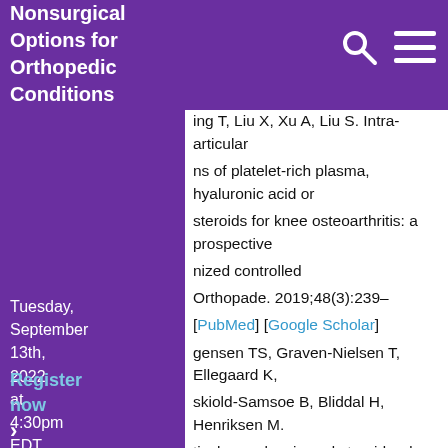Nonsurgical Options for Orthopedic Conditions
ing T, Liu X, Xu A, Liu S. Intra-articular injections of platelet-rich plasma, hyaluronic acid or corticosteroids for knee osteoarthritis: a prospective randomized controlled
Orthopade. 2019;48(3):239–
[PubMed] [Google Scholar]
gensen TS, Graven-Nielsen T, Ellegaard K, Eskiold-Samsoe B, Bliddal H, Henriksen M. Articular analgesia and steroid reduce pain sensitivity in knee OA patients: an interventional study. Pain Res
2014;2014:710490. [PMC free
[PubMed] [Google Scholar]